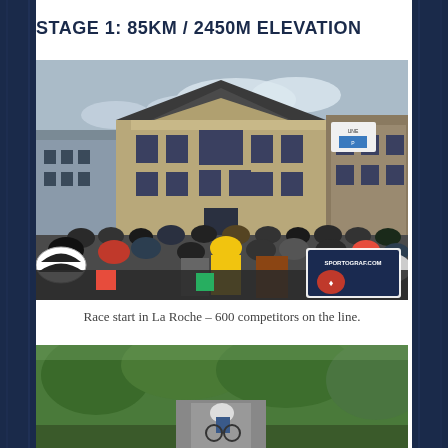STAGE 1: 85KM / 2450M ELEVATION
[Figure (photo): Crowded race start in a town square in La Roche, with hundreds of cyclists in helmets and spectators lining the streets, a large stone building in the background. Sportograf.com watermark visible.]
Race start in La Roche – 600 competitors on the line.
[Figure (photo): A cyclist riding on a road surrounded by lush green trees and vegetation, partial view.]